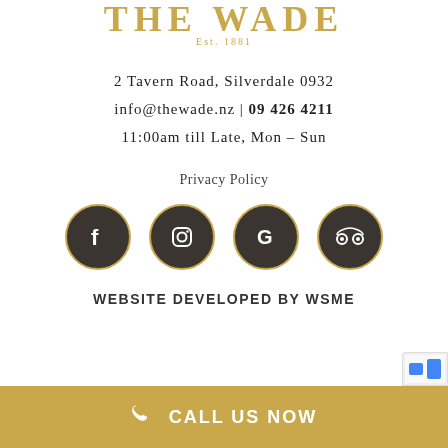THE WADE Est. 1881
2 Tavern Road, Silverdale 0932
info@thewade.nz | 09 426 4211
11:00am till Late, Mon – Sun
Privacy Policy
[Figure (illustration): Four social media icons in dark circular buttons with gold borders: Facebook, Instagram, Google, TripAdvisor]
WEBSITE DEVELOPED BY WSME
CALL US NOW